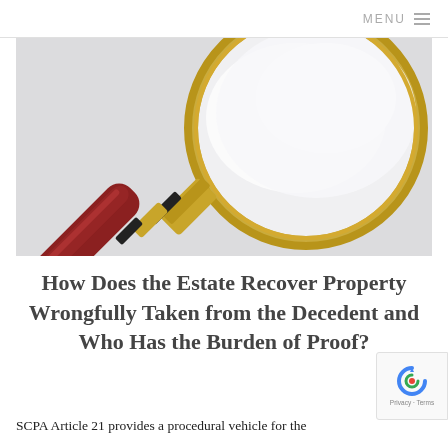MENU
[Figure (photo): Close-up photo of a magnifying glass with a gold rim and dark red wooden handle against a white/light grey background.]
How Does the Estate Recover Property Wrongfully Taken from the Decedent and Who Has the Burden of Proof?
SCPA Article 21 provides a procedural vehicle for the